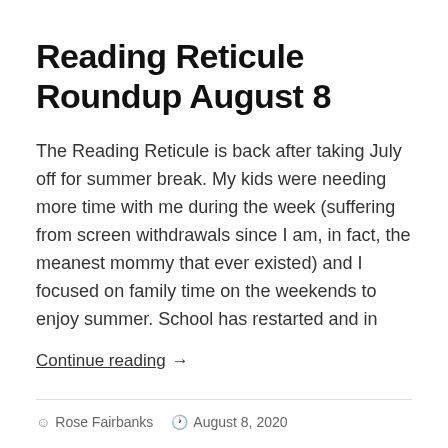Reading Reticule Roundup August 8
The Reading Reticule is back after taking July off for summer break. My kids were needing more time with me during the week (suffering from screen withdrawals since I am, in fact, the meanest mommy that ever existed) and I focused on family time on the weekends to enjoy summer. School has restarted and in
Continue reading →
Rose Fairbanks   August 8, 2020   weekly round up
A.K. Pittman, Abby North, Ada Byrn, Alix James, Anna Elliott, Anna Kate Suten, Anna Lockhart, Aubrey Anderson, Beau North